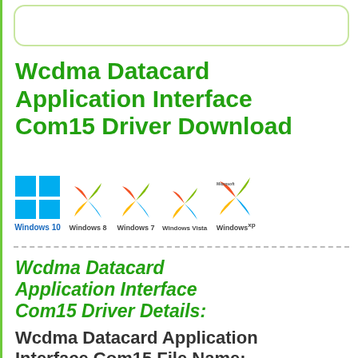Wcdma Datacard Application Interface Com15 Driver Download
[Figure (illustration): Five Windows OS logos in a row: Windows 10, Windows 8, Windows 7, Windows Vista, Windows XP]
Wcdma Datacard Application Interface Com15 Driver Details:
Wcdma Datacard Application Interface Com15 File Name: